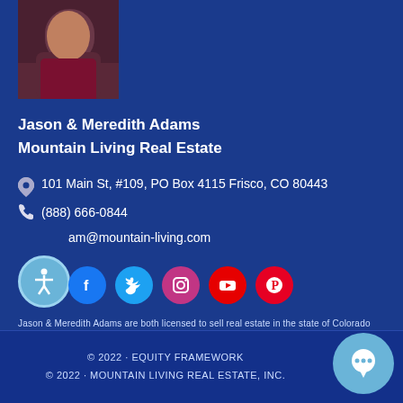[Figure (photo): Headshot photo of a person in a dark red/maroon shirt against dark background]
Jason & Meredith Adams
Mountain Living Real Estate
📍 101 Main St, #109, PO Box 4115 Frisco, CO 80443
📞 (888) 666-0844
am@mountain-living.com
[Figure (infographic): Social media icons row: Facebook, Twitter, Instagram, YouTube, Pinterest]
Jason & Meredith Adams are both licensed to sell real estate in the state of Colorado
How can we help?
© 2022 · EQUITY FRAMEWORK
© 2022 · MOUNTAIN LIVING REAL ESTATE, INC.